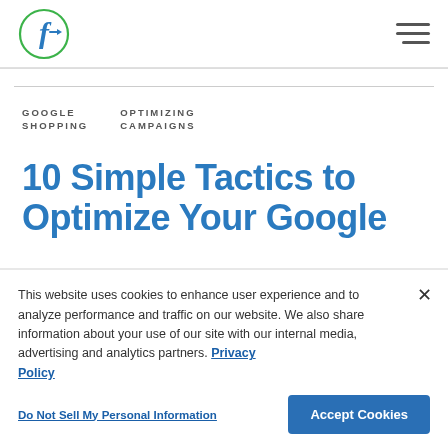Fluency logo and navigation hamburger menu
GOOGLE SHOPPING   OPTIMIZING CAMPAIGNS
10 Simple Tactics to Optimize Your Google
This website uses cookies to enhance user experience and to analyze performance and traffic on our website. We also share information about your use of our site with our internal media, advertising and analytics partners. Privacy Policy
Do Not Sell My Personal Information
Accept Cookies